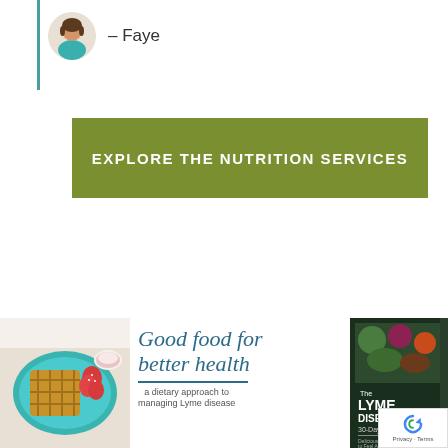[Figure (illustration): Avatar icon of a woman with dark hair, shown from shoulders up, with teal/turquoise top, circular profile image style]
– Faye
[Figure (other): Olive green rectangular button with white uppercase text reading EXPLORE THE NUTRITION SERVICES]
[Figure (photo): Food photograph showing waffles on a teal plate with strawberries and a small bowl of sauce/jam]
Good food for better health
a dietary approach to managing Lyme disease
[Figure (illustration): Book cover for 'The Lyme Disease 30-Day Meal Plan' showing a book with dark background and colorful vegetables/food imagery]